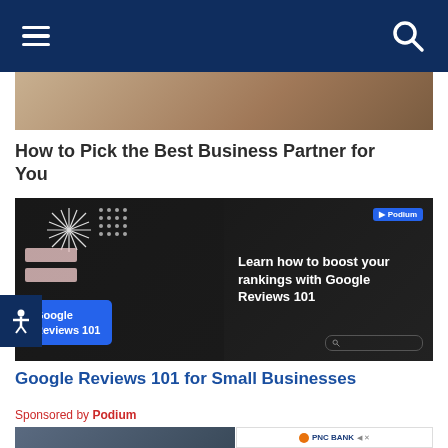Navigation bar with menu and search icons
[Figure (photo): Cropped top of a photo showing a person, partially visible]
How to Pick the Best Business Partner for You
[Figure (screenshot): Dark banner ad: Google Reviews 101 for Small Businesses by Podium. Left side shows stylized UI elements and a blue box labeled 'Google Reviews 101'. Right side says 'Learn how to boost your rankings with Google Reviews 101']
Google Reviews 101 for Small Businesses
Sponsored by Podium
[Figure (photo): Partially visible dark-toned photo on the bottom left]
[Figure (screenshot): PNC Bank advertisement with logo, 'Learn more >' button, and disclaimer text: ©2022 The PNC Financial Services Group, Inc. All rights reserved. PNC Bank, National Association. Member FDIC]